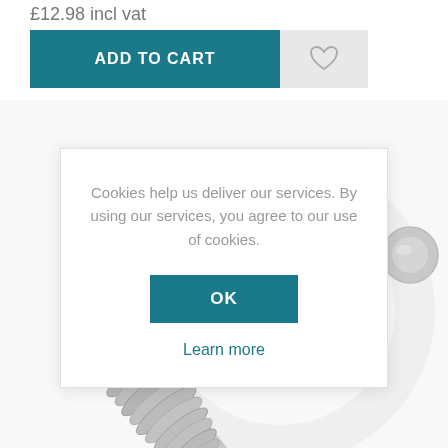£12.98 incl vat
ADD TO CART
[Figure (photo): Close-up photograph of a metal screw with spiral threading, silvery metallic surface, photographed against white background]
Cookies help us deliver our services. By using our services, you agree to our use of cookies.
OK
Learn more